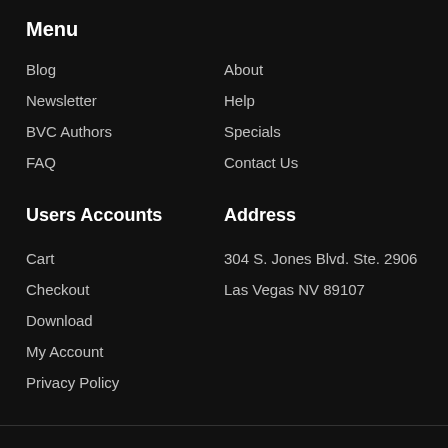Menu
Blog
Newsletter
BVC Authors
FAQ
About
Help
Specials
Contact Us
Users Accounts
Address
Cart
Checkout
Download
My Account
Privacy Policy
304 S. Jones Blvd. Ste. 2906
Las Vegas NV 89107